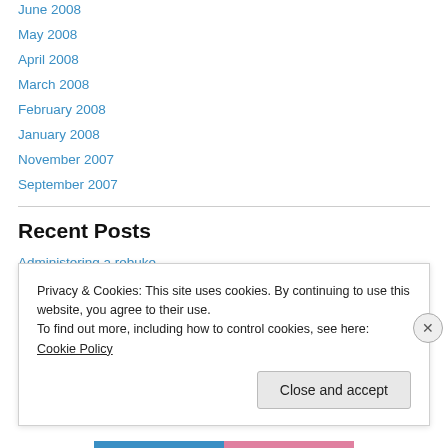June 2008
May 2008
April 2008
March 2008
February 2008
January 2008
November 2007
September 2007
Recent Posts
Administering a rebuke
Plants make chemicals too.
Privacy & Cookies: This site uses cookies. By continuing to use this website, you agree to their use.
To find out more, including how to control cookies, see here: Cookie Policy